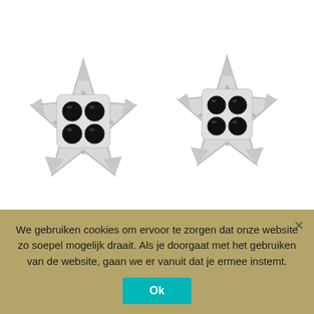[Figure (photo): Two silver star-shaped earrings (morningstar style) with black zirconia stones set in a cluster pattern, photographed on white background]
Karma Black Zirconia Symbols Morningstar Silver
€14,95
We gebruiken cookies om ervoor te zorgen dat onze website zo soepel mogelijk draait. Als je doorgaat met het gebruiken van de website, gaan we er vanuit dat je ermee instemt.
Ok